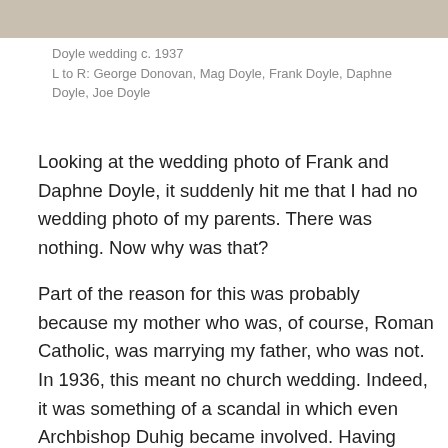[Figure (photo): Top portion of a wedding photo, partially visible at the top of the page]
Doyle wedding c. 1937
L to R: George Donovan, Mag Doyle, Frank Doyle, Daphne Doyle, Joe Doyle
Looking at the wedding photo of Frank and Daphne Doyle, it suddenly hit me that I had no wedding photo of my parents. There was nothing. Now why was that?
Part of the reason for this was probably because my mother who was, of course, Roman Catholic, was marrying my father, who was not. In 1936, this meant no church wedding. Indeed, it was something of a scandal in which even Archbishop Duhig became involved. Having been heavily involved in the education of Great Uncle Con’s two children after Con dropped dead in the cow yard at the age of 35, Duhig must’ve felt he had the right to a say in my mother’s life as well. And so he sent a special